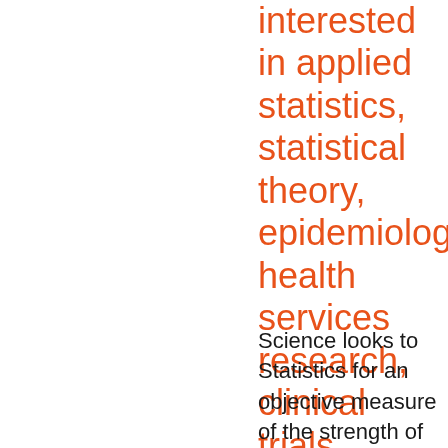interested in applied statistics, statistical theory, epidemiology, health services research, clinical trials methodology, statistical computing, statistical graphics, R users or potential users
Science looks to Statistics for an objective measure of the strength of evidence in a given body of observations. But Statistics offers only a